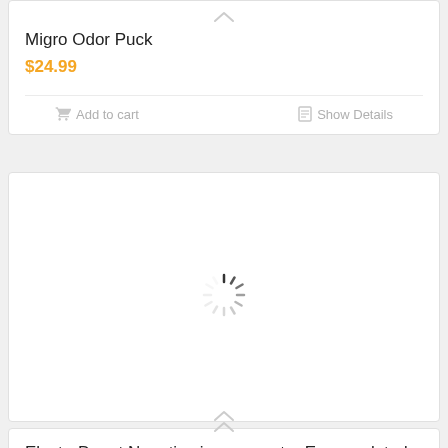Migro Odor Puck
$24.99
Add to cart
Show Details
[Figure (other): Loading spinner animation indicator]
ElectroDepot Negative ion generator Encapsulated Component Module w/ Needles (12VDC)